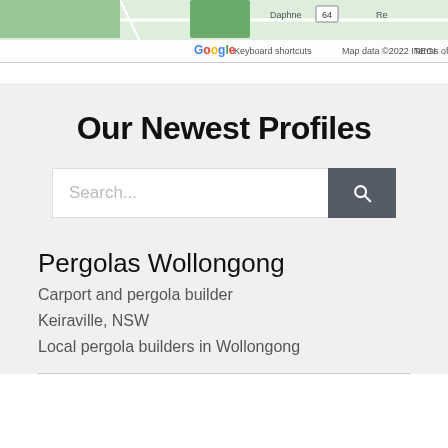[Figure (screenshot): Partial Google Maps view showing map tiles with road labels, Google logo, 'Keyboard shortcuts', 'Map data ©2022 INEGI', 'Terms of Use' text, and a road number badge showing '64']
Our Newest Profiles
Search...
Pergolas Wollongong
Carport and pergola builder
Keiraville, NSW
Local pergola builders in Wollongong